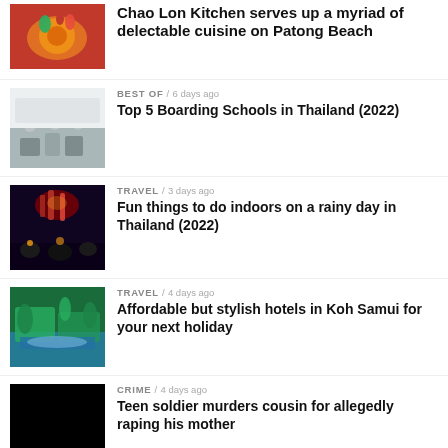Chao Lon Kitchen serves up a myriad of delectable cuisine on Patong Beach
[Figure (photo): Food dish photo - colorful Thai cuisine overhead shot]
BEST OF / 6 days ago
Top 5 Boarding Schools in Thailand (2022)
[Figure (photo): Students sitting together in a school common area]
TRAVEL / 3 days ago
Fun things to do indoors on a rainy day in Thailand (2022)
[Figure (photo): Nighttime street scene with red lanterns and motorcycles]
TRAVEL / 4 days ago
Affordable but stylish hotels in Koh Samui for your next holiday
[Figure (photo): Tropical hotel with pool and palm trees]
CRIME / 4 days ago
Teen soldier murders cousin for allegedly raping his mother
[Figure (photo): Black/dark image - crime story thumbnail]
THAILAND / 2 days ago